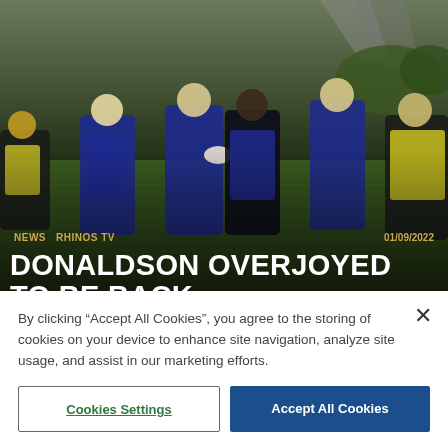[Figure (photo): Rugby league players in blue and yellow training kits practicing on a grass field, with a stadium structure visible in the background. One player carries a rugby ball while others are positioned around him.]
NEWS   RHINOS TV   01/09/2022
DONALDSON OVERJOYED TO BE BACK
By clicking “Accept All Cookies”, you agree to the storing of cookies on your device to enhance site navigation, analyze site usage, and assist in our marketing efforts.